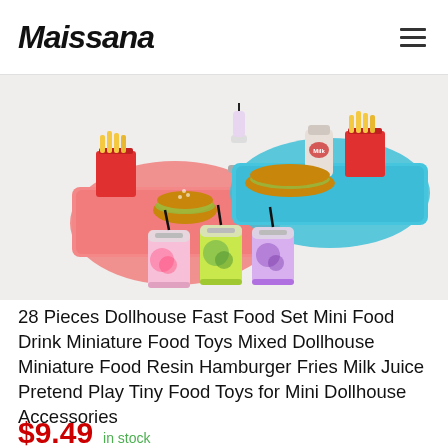Maissana
[Figure (photo): Miniature dollhouse fast food set showing colorful resin food items: two trays (pink and blue) with tiny burgers, french fries in red containers, a milk bottle, and three small mason jar-style drink bottles with straws containing colorful fruit-themed beverages (strawberry, kiwi, and grape/berry).]
28 Pieces Dollhouse Fast Food Set Mini Food Drink Miniature Food Toys Mixed Dollhouse Miniature Food Resin Hamburger Fries Milk Juice Pretend Play Tiny Food Toys for Mini Dollhouse Accessories
$9.49 in stock